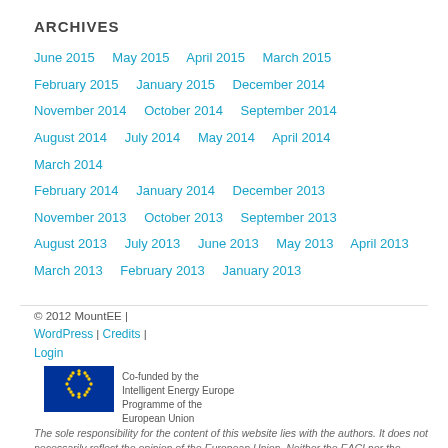ARCHIVES
June 2015    May 2015    April 2015    March 2015
February 2015    January 2015    December 2014
November 2014    October 2014    September 2014
August 2014    July 2014    May 2014    April 2014    March 2014
February 2014    January 2014    December 2013
November 2013    October 2013    September 2013
August 2013    July 2013    June 2013    May 2013    April 2013
March 2013    February 2013    January 2013
© 2012 MountEE | WordPress | Credits | Login
Co-funded by the Intelligent Energy Europe Programme of the European Union
The sole responsibility for the content of this website lies with the authors. It does not necessarily reflect the opinion of the European Union. Neither the EACI nor the European Commission are responsible for any use that may be made of the information contained therein.